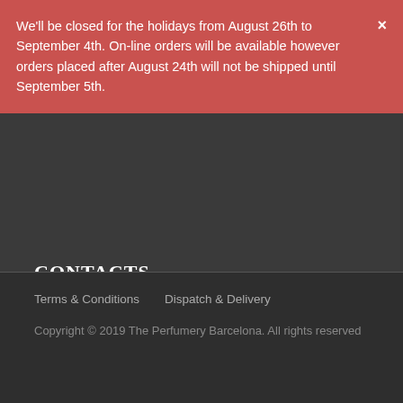We'll be closed for the holidays from August 26th to September 4th. On-line orders will be available however orders placed after August 24th will not be shipped until September 5th.
CONTACTS
Carrer de Sant Pere Més Alt 58, 08003 Barcelona
(+34) 93 002 97 20
info@theperfumerybarcelona.com
Terms & Conditions   Dispatch & Delivery
Copyright © 2019 The Perfumery Barcelona. All rights reserved